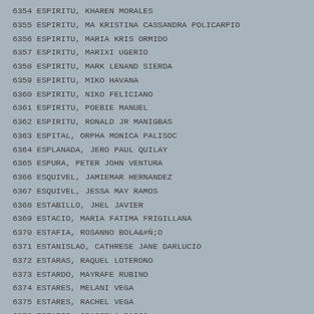6354 ESPIRITU, KHAREN MORALES
6355 ESPIRITU, MA KRISTINA CASSANDRA POLICARPIO
6356 ESPIRITU, MARIA KRIS ORMIDO
6357 ESPIRITU, MARIXI UGERIO
6358 ESPIRITU, MARK LENAND SIERDA
6359 ESPIRITU, MIKO HAVANA
6360 ESPIRITU, NIKO FELICIANO
6361 ESPIRITU, POEBIE MANUEL
6362 ESPIRITU, RONALD JR MANIGBAS
6363 ESPITAL, ORPHA MONICA PALISOC
6364 ESPLANADA, JERO PAUL QUILAY
6365 ESPURA, PETER JOHN VENTURA
6366 ESQUIVEL, JAMIEMAR HERNANDEZ
6367 ESQUIVEL, JESSA MAY RAMOS
6368 ESTABILLO, JHEL JAVIER
6369 ESTACIO, MARIA FATIMA FRIGILLANA
6370 ESTAFIA, ROSANNO BOLAÑO
6371 ESTANISLAO, CATHRESE JANE DARLUCIO
6372 ESTARAS, RAQUEL LOTERONO
6373 ESTARDO, MAYRAFE RUBINO
6374 ESTARES, MELANI VEGA
6375 ESTARES, RACHEL VEGA
6376 ESTARIS, GRACIELA BASCO